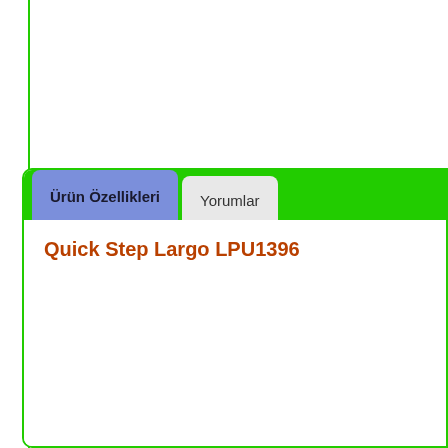Ürün Özellikleri
Yorumlar
Quick Step Largo LPU1396